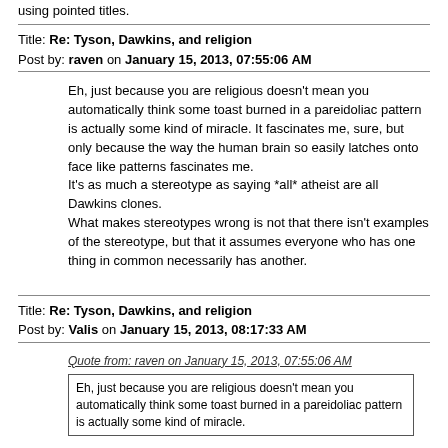using pointed titles.
Title: Re: Tyson, Dawkins, and religion
Post by: raven on January 15, 2013, 07:55:06 AM
Eh, just because you are religious doesn't mean you automatically think some toast burned in a pareidoliac pattern is actually some kind of miracle. It fascinates me, sure, but only because the way the human brain so easily latches onto face like patterns fascinates me.
It's as much a stereotype as saying *all* atheist are all Dawkins clones.
What makes stereotypes wrong is not that there isn't examples of the stereotype, but that it assumes everyone who has one thing in common necessarily has another.
Title: Re: Tyson, Dawkins, and religion
Post by: Valis on January 15, 2013, 08:17:33 AM
Quote from: raven on January 15, 2013, 07:55:06 AM
Eh, just because you are religious doesn't mean you automatically think some toast burned in a pareidoliac pattern is actually some kind of miracle.
That's not what I said. What I said that in a world where we still have individuals taking such things as miracles, there's a definite need for public education.
Title: Re: Tyson, Dawkins, and religion